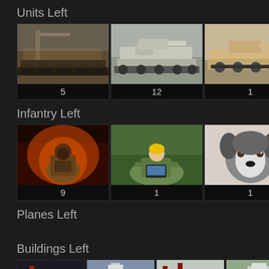Units Left
[Figure (infographic): Three military vehicle thumbnails with counts: tank/artillery unit x5, self-propelled gun x12, armored vehicle x1]
Infantry Left
[Figure (infographic): Three infantry/unit thumbnails with counts: soldier with equipment x9, person with laptop x1, husky dog x1]
Planes Left
Buildings Left
[Figure (infographic): Four building thumbnails with counts: industrial building x2, facility x1, structure x1, equipment x2]
Ships Left